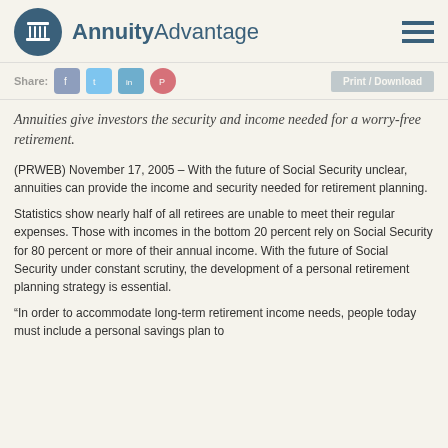AnnuityAdvantage
Share: [social icons] Print / Download
Annuities give investors the security and income needed for a worry-free retirement.
(PRWEB) November 17, 2005 – With the future of Social Security unclear, annuities can provide the income and security needed for retirement planning.
Statistics show nearly half of all retirees are unable to meet their regular expenses. Those with incomes in the bottom 20 percent rely on Social Security for 80 percent or more of their annual income. With the future of Social Security under constant scrutiny, the development of a personal retirement planning strategy is essential.
“In order to accommodate long-term retirement income needs, people today must include a personal savings plan to